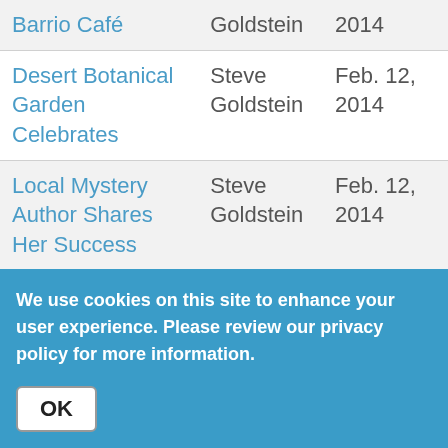| Barrio Café | Goldstein | 2014 |
| Desert Botanical Garden Celebrates | Steve Goldstein | Feb. 12, 2014 |
| Local Mystery Author Shares Her Success | Steve Goldstein | Feb. 12, 2014 |
| Horne Campaign Investigation Continues | Steve Goldstein | Feb. 12, 2014 |
| Envisioning Arizona's K-12 Education Future | Steve Goldstein | Feb. 12, 2014 |
We use cookies on this site to enhance your user experience. Please review our privacy policy for more information.